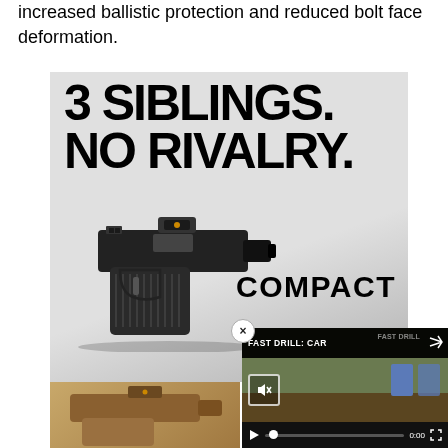increased ballistic protection and reduced bolt face deformation.
[Figure (illustration): Advertisement for a compact pistol. Large bold text reads '3 SIBLINGS. NO RIVALRY.' with a black pistol with red-dot sight shown, labeled 'COMPACT'. Below is a partial view of a tan/FDE colored pistol.]
[Figure (screenshot): Video player overlay showing 'FAST DRILL: CAR' title with shooting range footage, mute icon, play button, progress bar at 0:00, and blue target silhouettes. Close button (x) in upper right.]